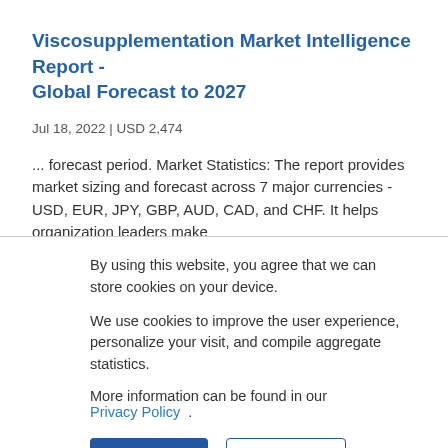Viscosupplementation Market Intelligence Report - Global Forecast to 2027
Jul 18, 2022 | USD 2,474
... forecast period. Market Statistics: The report provides market sizing and forecast across 7 major currencies - USD, EUR, JPY, GBP, AUD, CAD, and CHF. It helps organization leaders make
By using this website, you agree that we can store cookies on your device.
We use cookies to improve the user experience, personalize your visit, and compile aggregate statistics.
More information can be found in our Privacy Policy .